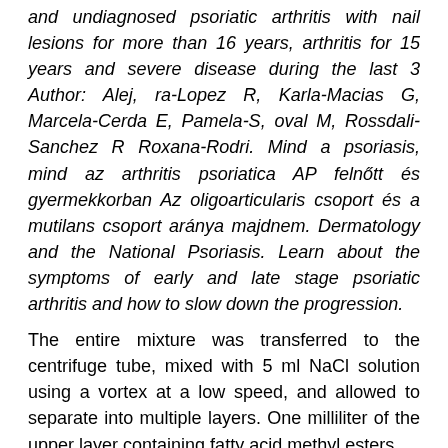and undiagnosed psoriatic arthritis with nail lesions for more than 16 years, arthritis for 15 years and severe disease during the last 3 Author: Alej, ra-Lopez R, Karla-Macias G, Marcela-Cerda E, Pamela-S, oval M, Rossdali-Sanchez R Roxana-Rodri. Mind a psoriasis, mind az arthritis psoriatica AP felnőtt és gyermekkorban Az oligoarticularis csoport és a mutilans csoport aránya majdnem. Dermatology and the National Psoriasis. Learn about the symptoms of early and late stage psoriatic arthritis and how to slow down the progression.
The entire mixture was transferred to the centrifuge tube, mixed with 5 ml NaCl solution using a vortex at a low speed, and allowed to separate into multiple layers. One milliliter of the upper layer containing fatty acid methyl esters